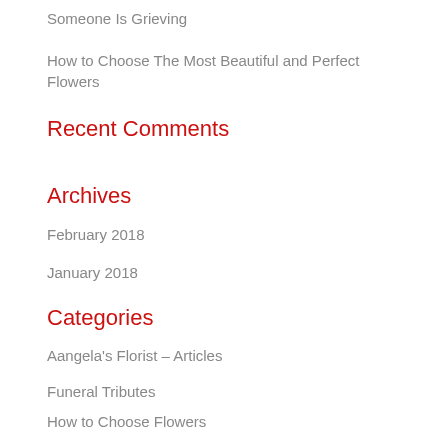Someone Is Grieving
How to Choose The Most Beautiful and Perfect Flowers
Recent Comments
Archives
February 2018
January 2018
Categories
Aangela's Florist – Articles
Funeral Tributes
How to Choose Flowers
Non Allergenic Flowers
Roses All Colours